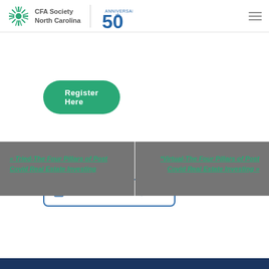CFA Society North Carolina — 50th Anniversary
Register Here
Add to calendar
« Tried-The Four Pillars of Post Covid Real Estate Investing
*Virtual-The Four Pillars of Post Covid Real Estate Investing »